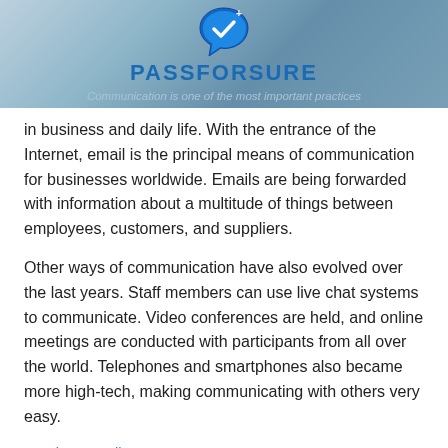[Figure (logo): PassForSure logo with speech bubble icon containing a checkmark, blue text logo on header background image showing a person working]
Communication is one of the most important practices
in business and daily life. With the entrance of the Internet, email is the principal means of communication for businesses worldwide. Emails are being forwarded with information about a multitude of things between employees, customers, and suppliers.
Other ways of communication have also evolved over the last years. Staff members can use live chat systems to communicate. Video conferences are held, and online meetings are conducted with participants from all over the world. Telephones and smartphones also became more high-tech, making communicating with others very easy.
Continue reading →